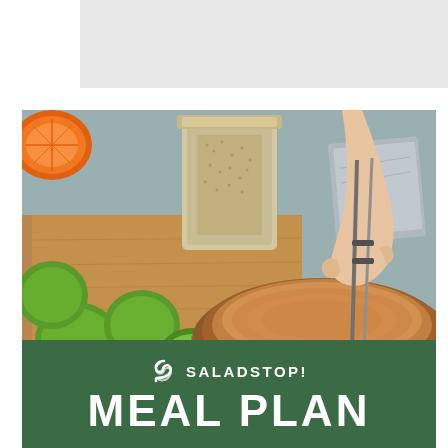[Figure (photo): Gray placeholder rectangle at the top of the page]
[Figure (photo): Food preparation photo showing limes, an orange half, a jar of grain/oats, a wooden salad bowl with a utensil in hand, and a cloth on a gray surface]
SALADSTOP! MEAL PLAN